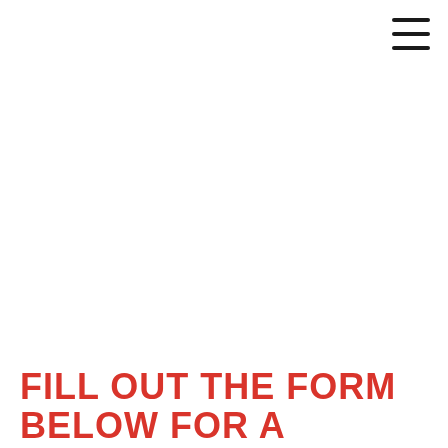≡
FILL OUT THE FORM BELOW FOR A